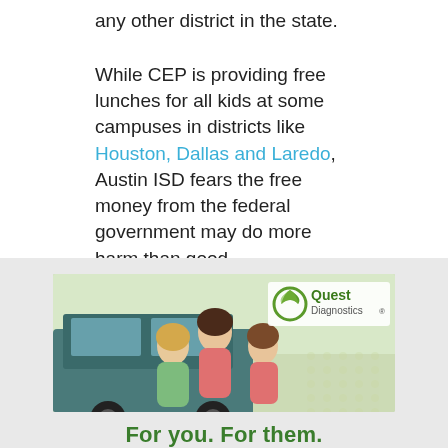any other district in the state.
While CEP is providing free lunches for all kids at some campuses in districts like Houston, Dallas and Laredo, Austin ISD fears the free money from the federal government may do more harm than good.
[Figure (illustration): Quest Diagnostics advertisement showing three children sitting together outdoors near a vehicle, with Quest Diagnostics logo visible. Tagline: 'For you. For them.']